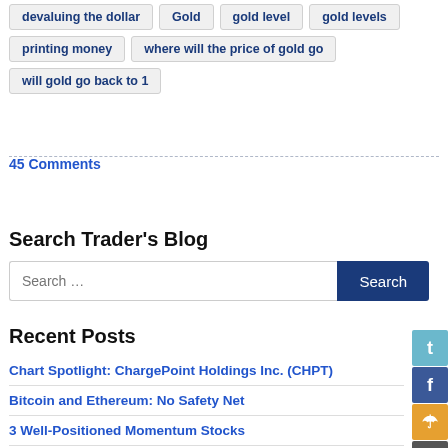devaluing the dollar
Gold
gold level
gold levels
printing money
where will the price of gold go
will gold go back to 1
45 Comments
Search Trader's Blog
Recent Posts
Chart Spotlight: ChargePoint Holdings Inc. (CHPT)
Bitcoin and Ethereum: No Safety Net
3 Well-Positioned Momentum Stocks